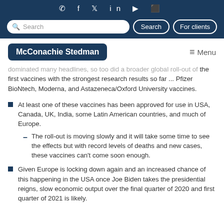✆ f 𝕏 in ▶ 📷
Search | Search | For clients
McConachie Stedman  ≡ Menu
dominated many headlines, so too did a broader global roll-out of the first vaccines with the strongest research results so far ... Pfizer BioNtech, Moderna, and Astazeneca/Oxford University vaccines.
At least one of these vaccines has been approved for use in USA, Canada, UK, India, some Latin American countries, and much of Europe.
The roll-out is moving slowly and it will take some time to see the effects but with record levels of deaths and new cases, these vaccines can't come soon enough.
Given Europe is locking down again and an increased chance of this happening in the USA once Joe Biden takes the presidential reigns, slow economic output over the final quarter of 2020 and first quarter of 2021 is likely.